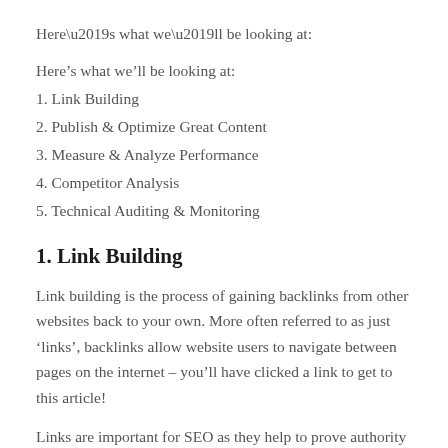Here’s what we’ll be looking at:
1. Link Building
2. Publish & Optimize Great Content
3. Measure & Analyze Performance
4. Competitor Analysis
5. Technical Auditing & Monitoring
1. Link Building
Link building is the process of gaining backlinks from other websites back to your own. More often referred to as just ‘links’, backlinks allow website users to navigate between pages on the internet – you’ll have clicked a link to get to this article!
Links are important for SEO as they help to prove authority and relevance to search engines. If a bunch of